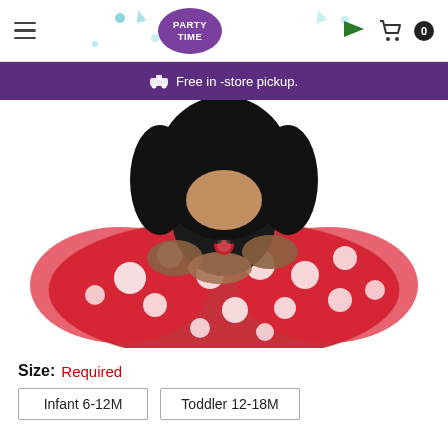Party Time store header with hamburger menu, Party Time logo, flag icon, cart icon with badge 0
Free in -store pickup.
[Figure (photo): Young child wearing a black top and a red polka-dot Minnie Mouse tutu skirt with a Minnie Mouse brooch, sitting cross-legged on a white background.]
Size: Required
Infant 6-12M
Toddler 12-18M